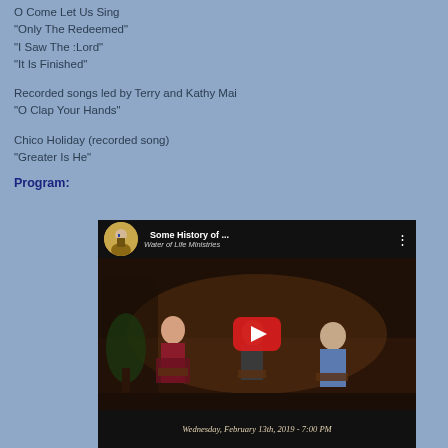O Come Let Us Sing
“Only The Redeemed”
“I Saw The :Lord”
“It Is Finished”
Recorded songs led by Terry and Kathy Mai
“O Clap Your Hands”
Chico Holiday (recorded song)
“Greater Is He”
Program:
[Figure (screenshot): YouTube video thumbnail showing 'Some History of ...' from Water of Life Ministries, with people seated in a church setting, a YouTube play button overlay, and text 'Wednesday, February 13th, 2019 - 7:00 PM']